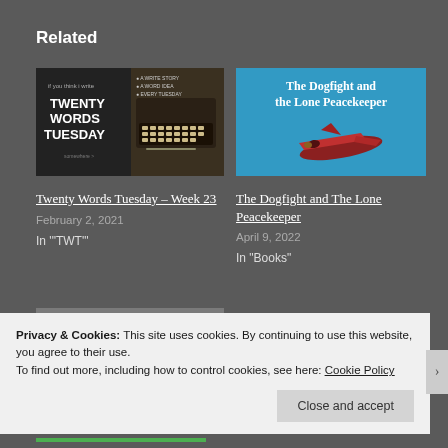Related
[Figure (photo): Book cover or blog image for Twenty Words Tuesday - dark background with typewriter and text 'TWENTY WORDS TUESDAY']
Twenty Words Tuesday – Week 23
February 2, 2021
In "TWT"
[Figure (photo): Book cover for The Dogfight and the Lone Peacekeeper - blue background with airplane, white title text]
The Dogfight and The Lone Peacekeeper
April 9, 2022
In "Books"
Privacy & Cookies: This site uses cookies. By continuing to use this website, you agree to their use.
To find out more, including how to control cookies, see here: Cookie Policy
Close and accept